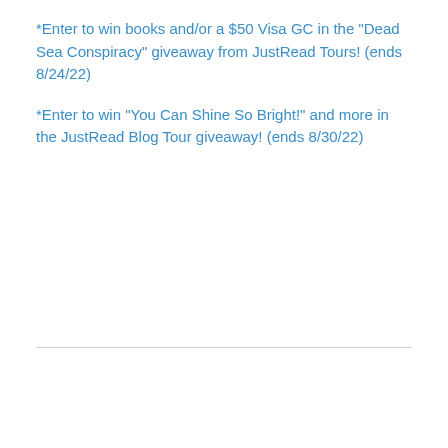*Enter to win books and/or a $50 Visa GC in the “Dead Sea Conspiracy” giveaway from JustRead Tours! (ends 8/24/22)
*Enter to win “You Can Shine So Bright!” and more in the JustRead Blog Tour giveaway! (ends 8/30/22)
Follow Blog via Email
Enter your email address to follow this blog and receive notifications of new posts by email.